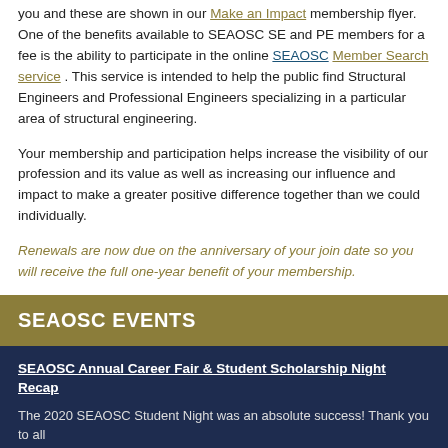you and these are shown in our Make an Impact membership flyer. One of the benefits available to SEAOSC SE and PE members for a fee is the ability to participate in the online SEAOSC Member Search service . This service is intended to help the public find Structural Engineers and Professional Engineers specializing in a particular area of structural engineering.
Your membership and participation helps increase the visibility of our profession and its value as well as increasing our influence and impact to make a greater positive difference together than we could individually.
Renewals are now due on the anniversary of your join date so you will receive the full one-year benefit of your membership.
SEAOSC EVENTS
SEAOSC Annual Career Fair & Student Scholarship Night Recap
The 2020 SEAOSC Student Night was an absolute success! Thank you to all